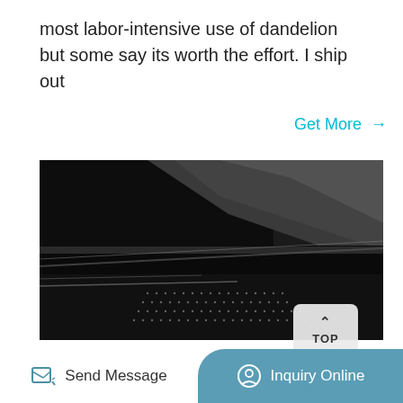most labor-intensive use of dandelion but some say its worth the effort. I ship out
Get More →
[Figure (photo): Close-up black and white photograph of dark metallic or leather surfaces with ridged/perforated detail, showing layered flat and textured surfaces.]
TOP
Send Message
Inquiry Online